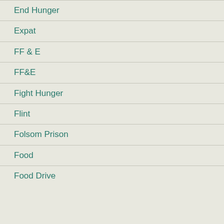End Hunger
Expat
FF & E
FF&E
Fight Hunger
Flint
Folsom Prison
Food
Food Drive